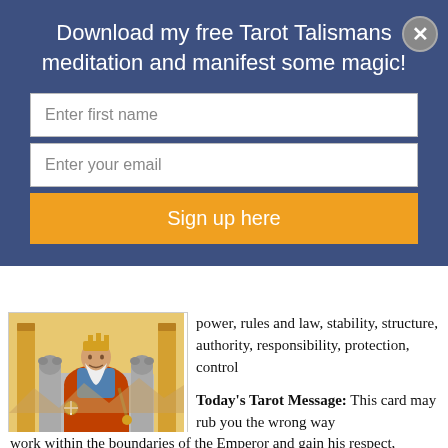Download my free Tarot Talismans meditation and manifest some magic!
Enter first name
Enter your email
Sign up here
[Figure (illustration): The Emperor tarot card showing a figure seated on a throne in red robes with ram-head armrests and decorative elements]
THE EMPEROR.
power, rules and law, stability, structure, authority, responsibility, protection, control
Today's Tarot Message: This card may rub you the wrong way sometimes...there is a feeling of authority, being told what to do, having to follow the rules, listen to the boss. If you can find a way to work within the boundaries of the Emperor and gain his respect,